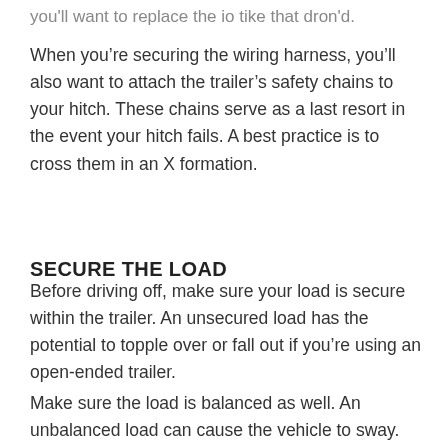you'll want to replace the io tike that dron'd.
When you're securing the wiring harness, you'll also want to attach the trailer's safety chains to your hitch. These chains serve as a last resort in the event your hitch fails. A best practice is to cross them in an X formation.
SECURE THE LOAD
Before driving off, make sure your load is secure within the trailer. An unsecured load has the potential to topple over or fall out if you're using an open-ended trailer.
Make sure the load is balanced as well. An unbalanced load can cause the vehicle to sway. Place